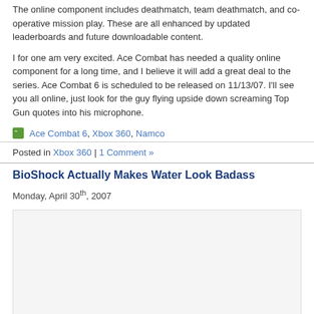The online component includes deathmatch, team deathmatch, and co-operative mission play. These are all enhanced by updated leaderboards and future downloadable content.
I for one am very excited. Ace Combat has needed a quality online component for a long time, and I believe it will add a great deal to the series. Ace Combat 6 is scheduled to be released on 11/13/07. I'll see you all online, just look for the guy flying upside down screaming Top Gun quotes into his microphone.
Ace Combat 6, Xbox 360, Namco
Posted in Xbox 360 | 1 Comment »
BioShock Actually Makes Water Look Badass
Monday, April 30th, 2007
[Figure (other): Could not load plugin area placeholder]